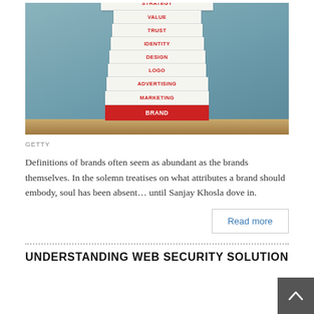[Figure (photo): Stack of books on a shelf with brand-related words on their spines: BRAND (red cover on top), MARKETING, ADVERTISING, LOGO, DESIGN, IDENTITY, TRUST, VALUE, STRATEGY, against a teal/grey background.]
GETTY
Definitions of brands often seem as abundant as the brands themselves. In the solemn treatises on what attributes a brand should embody, soul has been absent… until Sanjay Khosla dove in.
Read more
UNDERSTANDING WEB SECURITY SOLUTION